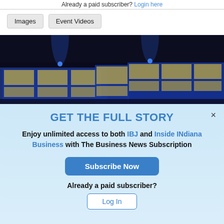Already a paid subscriber? Login here
Images | Event Videos
[Figure (photo): Dark event venue with blue lighting and display screens showing blue and yellow panels]
GET THE FULL STORY
Enjoy unlimited access to both IBJ and Inside INdiana Business with The Business News Subscription
Subscribe Now
Already a paid subscriber?
Log In